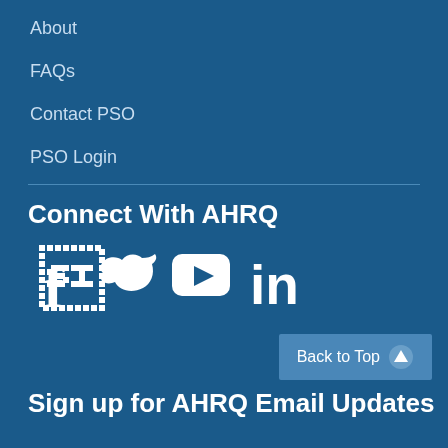About
FAQs
Contact PSO
PSO Login
Connect With AHRQ
[Figure (infographic): Social media icons: Facebook, Twitter, YouTube, LinkedIn]
Back to Top
Sign up for AHRQ Email Updates